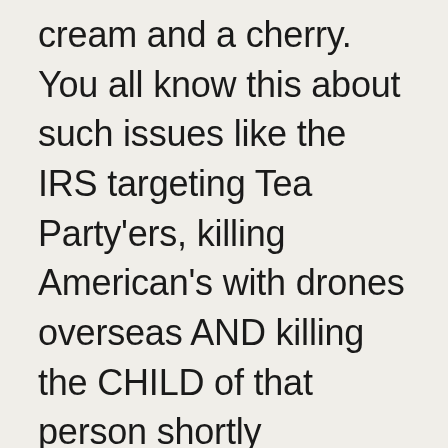cream and a cherry.  You all know this about such issues like the IRS targeting Tea Partyers, killing American's with drones overseas AND killing the CHILD of that person shortly thereafter, or how we claim we are “helping” other countries meanwhile we are robbing them or have our their agenda for power and control